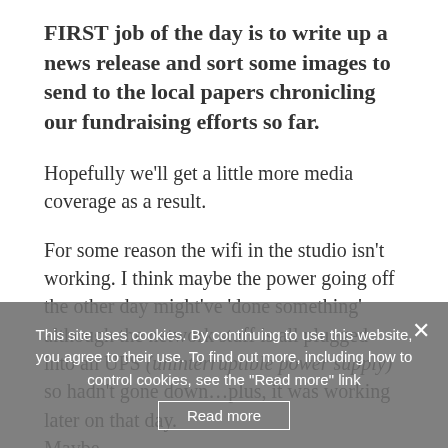FIRST job of the day is to write up a news release and sort some images to send to the local papers chronicling our fundraising efforts so far.
Hopefully we'll get a little more media coverage as a result.
For some reason the wifi in the studio isn't working. I think maybe the power going off the other day might've 'done something' although the network stuff is all plugged into an UPS (uninterruptible power supply) so hadn't gone down…plus, it was working later on that day. Maybe...
I reset everything and manage to get the wifi back up…but my ethernet connection has
This site uses cookies. By continuing to use this website, you agree to their use. To find out more, including how to control cookies, see the "Read more" link